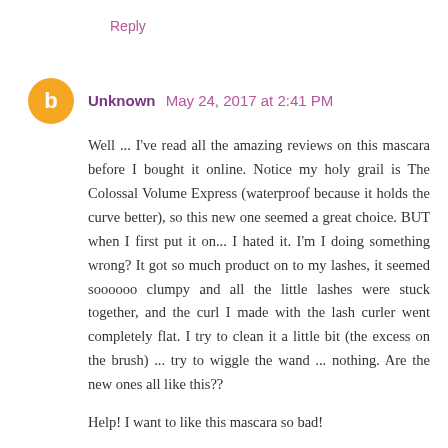Reply
Unknown May 24, 2017 at 2:41 PM
Well ... I've read all the amazing reviews on this mascara before I bought it online. Notice my holy grail is The Colossal Volume Express (waterproof because it holds the curve better), so this new one seemed a great choice. BUT when I first put it on... I hated it. I'm I doing something wrong? It got so much product on to my lashes, it seemed soooooo clumpy and all the little lashes were stuck together, and the curl I made with the lash curler went completely flat. I try to clean it a little bit (the excess on the brush) ... try to wiggle the wand ... nothing. Are the new ones all like this??
Help! I want to like this mascara so bad!
Kisses from Portugal
Reply